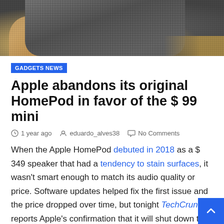[Figure (photo): Close-up photograph of a HomePod speaker showing its mesh fabric exterior and a hand holding it, against a warm background]
GADGETS NEWS
Apple abandons its original HomePod in favor of the $ 99 mini
1 year ago  eduardo_alves38  No Comments
When the Apple HomePod debuted in 2018 as a $ 349 speaker that had a tendency to stain surfaces, it wasn't smart enough to match its audio quality or price. Software updates helped fix the first issue and the price dropped over time, but tonight TechCrunch reports Apple's confirmation that it will shut down the original speaker.
In a statement, Apple confirmed that software updates